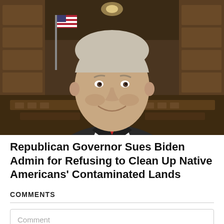[Figure (photo): A middle-aged man in a dark suit and red tie smiling, posed in front of a courtroom interior with wooden paneling, benches, and an American flag in the background.]
Republican Governor Sues Biden Admin for Refusing to Clean Up Native Americans' Contaminated Lands
COMMENTS
Comment